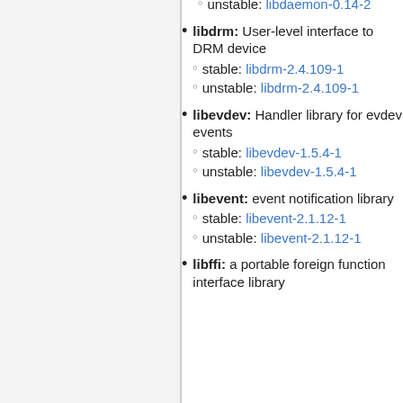unstable: libdaemon-0.14-2
libdrm: User-level interface to DRM device
stable: libdrm-2.4.109-1
unstable: libdrm-2.4.109-1
libevdev: Handler library for evdev events
stable: libevdev-1.5.4-1
unstable: libevdev-1.5.4-1
libevent: event notification library
stable: libevent-2.1.12-1
unstable: libevent-2.1.12-1
libffi: a portable foreign function interface library